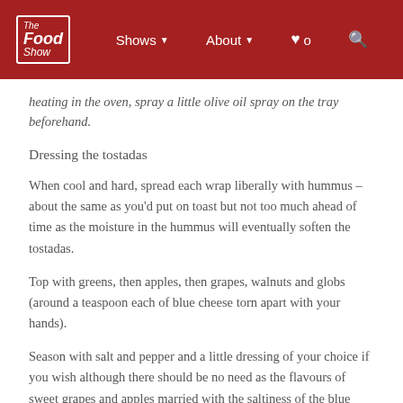The Food Show | Shows | About | ♥ 0 | Search
heating in the oven, spray a little olive oil spray on the tray beforehand.
Dressing the tostadas
When cool and hard, spread each wrap liberally with hummus – about the same as you'd put on toast but not too much ahead of time as the moisture in the hummus will eventually soften the tostadas.
Top with greens, then apples, then grapes, walnuts and globs (around a teaspoon each of blue cheese torn apart with your hands).
Season with salt and pepper and a little dressing of your choice if you wish although there should be no need as the flavours of sweet grapes and apples married with the saltiness of the blue cheese should balance nicely on their own.
Serve & enjoy!